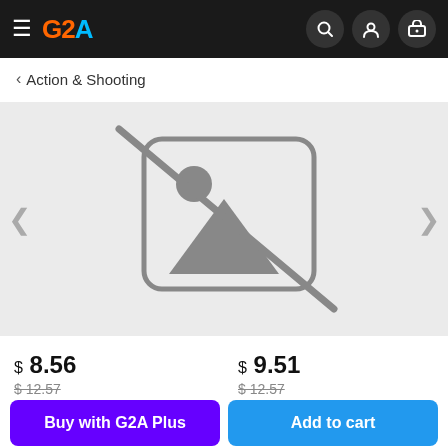G2A
< Action & Shooting
[Figure (illustration): Placeholder image icon with a diagonal line through it, indicating no image available, on a light gray background with left and right carousel navigation arrows]
$ 8.56
$12.57
-32%
$ 9.51
$12.57
-24%
Buy with G2A Plus
Add to cart